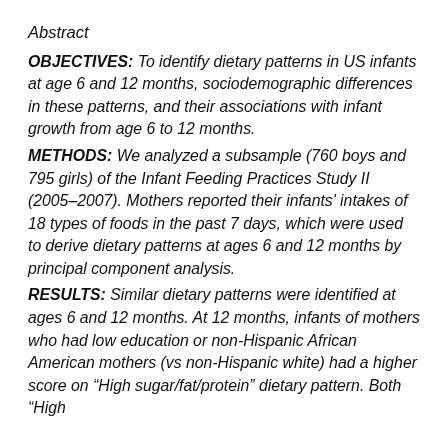Abstract
OBJECTIVES: To identify dietary patterns in US infants at age 6 and 12 months, sociodemographic differences in these patterns, and their associations with infant growth from age 6 to 12 months.
METHODS: We analyzed a subsample (760 boys and 795 girls) of the Infant Feeding Practices Study II (2005–2007). Mothers reported their infants' intakes of 18 types of foods in the past 7 days, which were used to derive dietary patterns at ages 6 and 12 months by principal component analysis.
RESULTS: Similar dietary patterns were identified at ages 6 and 12 months. At 12 months, infants of mothers who had low education or non-Hispanic African American mothers (vs non-Hispanic white) had a higher score on “High sugar/fat/protein” dietary pattern. Both “High